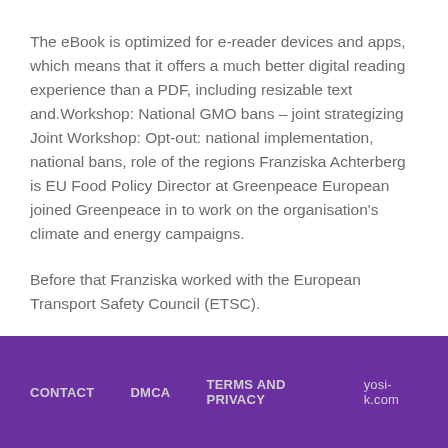The eBook is optimized for e-reader devices and apps, which means that it offers a much better digital reading experience than a PDF, including resizable text and.Workshop: National GMO bans – joint strategizing Joint Workshop: Opt-out: national implementation, national bans, role of the regions Franziska Achterberg is EU Food Policy Director at Greenpeace European joined Greenpeace in to work on the organisation's climate and energy campaigns.
Before that Franziska worked with the European Transport Safety Council (ETSC).
CONTACT   DMCA   TERMS AND PRIVACY   yosi-k.com